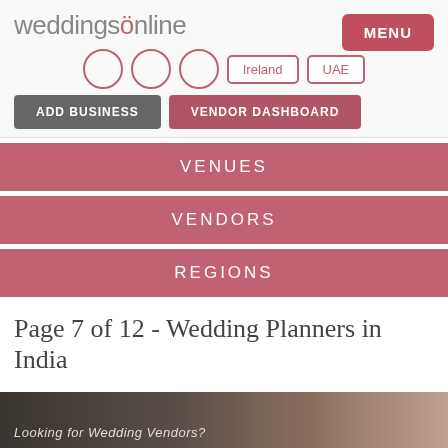weddingsonline — MENU
ADD BUSINESS   VENDOR DASHBOARD
VENUES
VENDORS
REGIONS
Page 7 of 12 - Wedding Planners in India
[Figure (photo): Dark photo strip at the bottom, partially showing an image labeled 'Looking for Wedding Vendors?']